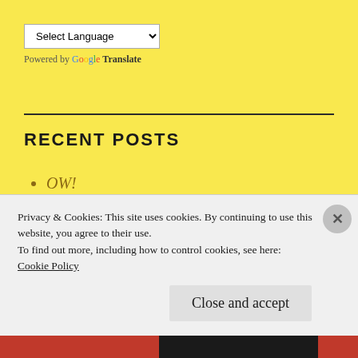[Figure (other): Google Translate language selector widget with dropdown labeled 'Select Language' and 'Powered by Google Translate' text]
RECENT POSTS
OW!
But it's dirty!
Bigger boat for bigger teeth
Privacy & Cookies: This site uses cookies. By continuing to use this website, you agree to their use.
To find out more, including how to control cookies, see here:
Cookie Policy